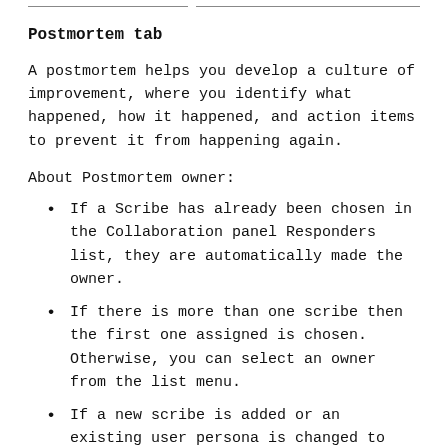Postmortem tab
A postmortem helps you develop a culture of improvement, where you identify what happened, how it happened, and action items to prevent it from happening again.
About Postmortem owner:
If a Scribe has already been chosen in the Collaboration panel Responders list, they are automatically made the owner.
If there is more than one scribe then the first one assigned is chosen. Otherwise, you can select an owner from the list menu.
If a new scribe is added or an existing user persona is changed to Scribe, that